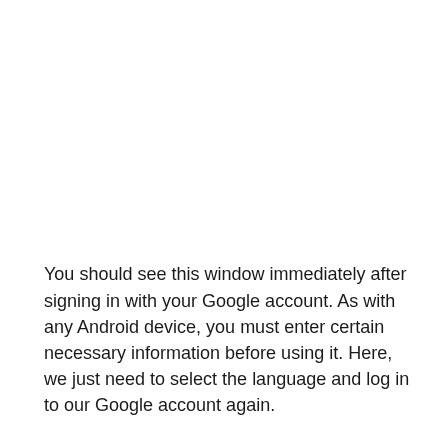You should see this window immediately after signing in with your Google account. As with any Android device, you must enter certain necessary information before using it. Here, we just need to select the language and log in to our Google account again.